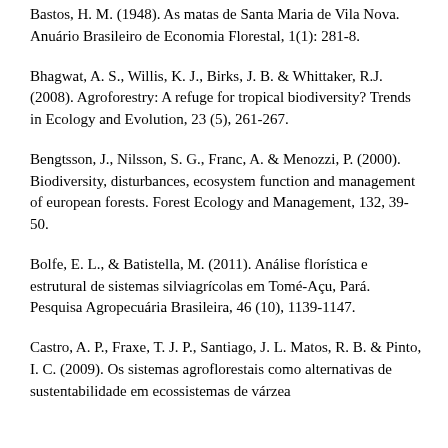Bastos, H. M. (1948). As matas de Santa Maria de Vila Nova. Anuário Brasileiro de Economia Florestal, 1(1): 281-8.
Bhagwat, A. S., Willis, K. J., Birks, J. B. & Whittaker, R.J. (2008). Agroforestry: A refuge for tropical biodiversity? Trends in Ecology and Evolution, 23 (5), 261-267.
Bengtsson, J., Nilsson, S. G., Franc, A. & Menozzi, P. (2000). Biodiversity, disturbances, ecosystem function and management of european forests. Forest Ecology and Management, 132, 39-50.
Bolfe, E. L., & Batistella, M. (2011). Análise florística e estrutural de sistemas silviagrícolas em Tomé-Açu, Pará. Pesquisa Agropecuária Brasileira, 46 (10), 1139-1147.
Castro, A. P., Fraxe, T. J. P., Santiago, J. L. Matos, R. B. & Pinto, I. C. (2009). Os sistemas agroflorestais como alternativas de sustentabilidade em ecossistemas de várzea ...